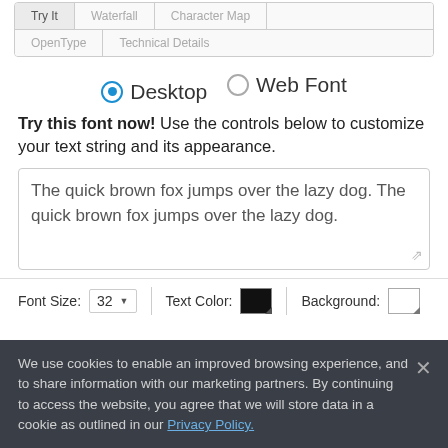[Figure (screenshot): Tab navigation bar with tabs: Try It (active), Waterfall, Character Map, OpenType, Technical Details]
[Figure (screenshot): Radio button selection row: Desktop (selected) and Web Font options]
Try this font now! Use the controls below to customize your text string and its appearance.
[Figure (screenshot): Text area input box containing: The quick brown fox jumps over the lazy dog. The quick brown fox jumps over the lazy dog.]
[Figure (screenshot): Font controls bar: Font Size: 32 dropdown, Text Color: black swatch, Background: white swatch]
We use cookies to enable an improved browsing experience, and to share information with our marketing partners. By continuing to access the website, you agree that we will store data in a cookie as outlined in our Privacy Policy.